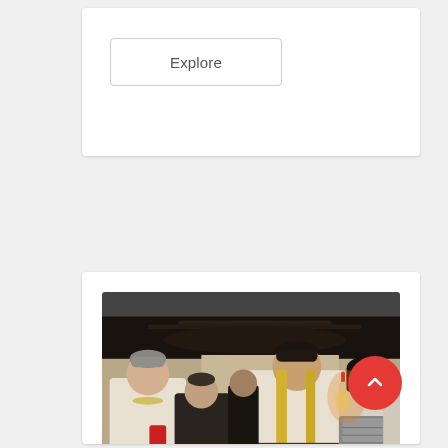Explore
[Figure (photo): Group of people in traditional Eastern European / Transylvanian costumes inside a rustic venue with antler decorations. Several people wearing white folk blouses, one with a black headscarf and armor, another holding a red cup.]
Vampire in Transylvania with Ritual Killing of a Living Dead, 3 days from Cluj